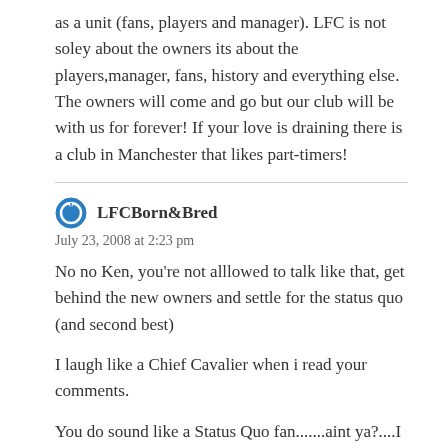as a unit (fans, players and manager). LFC is not soley about the owners its about the players,manager, fans, history and everything else. The owners will come and go but our club will be with us for forever! If your love is draining there is a club in Manchester that likes part-timers!
LFCBorn&Bred
July 23, 2008 at 2:23 pm
No no Ken, you're not alllowed to talk like that, get behind the new owners and settle for the status quo (and second best)
I laugh like a Chief Cavalier when i read your comments.
You do sound like a Status Quo fan.......aint ya?....I